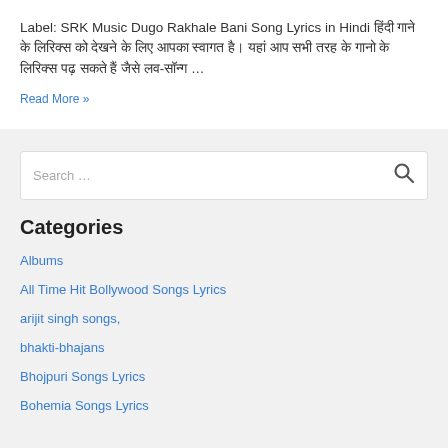Label: SRK Music Dugo Rakhale Bani Song Lyrics in Hindi हिंदी गाने के लिरिक्स को देखने के लिए आपका स्वागत है। यहां आप सभी तरह के गानों के लिरिक्स पढ़ सकते हैं जैसे लव-सॉन्ग ...
Read More »
Search …
Categories
Albums
All Time Hit Bollywood Songs Lyrics
arijit singh songs,
bhakti-bhajans
Bhojpuri Songs Lyrics
Bohemia Songs Lyrics